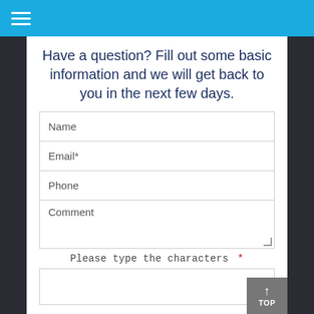Navigation menu
Have a question? Fill out some basic information and we will get back to you in the next few days.
Name
Email *
Phone
Comment
Please type the characters *
TOP